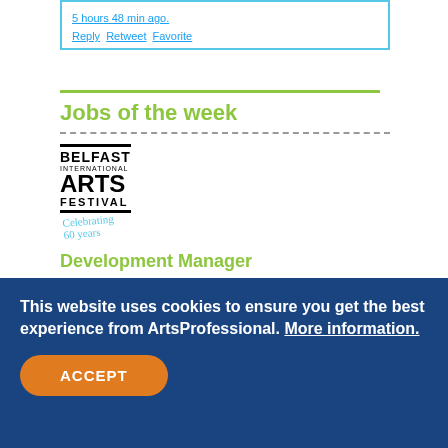5 hours 48 min ago.
Reply  Retweet  Favorite
Jobs of the week
[Figure (logo): Belfast International Arts Festival logo with 'Celebrating 60 years' tagline in teal cursive]
Development Manager
Northern Ireland
Salary: £29,000 - £29,000 (pro rata)
[Figure (logo): Wokingham Borough Council logo with crest and text]
This website uses cookies to ensure you get the best experience from ArtsProfessional. More information.
ACCEPT